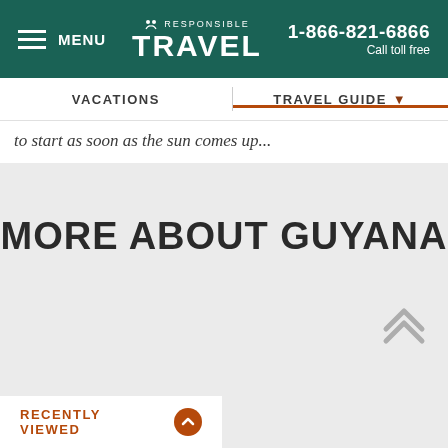≡ MENU | Responsible TRAVEL | 1-866-821-6866 Call toll free
VACATIONS | TRAVEL GUIDE
to start as soon as the sun comes up...
MORE ABOUT GUYANA
RECENTLY VIEWED